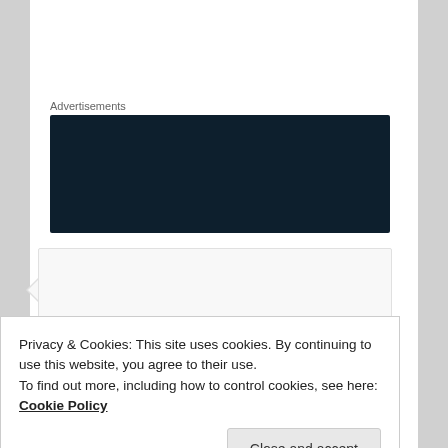Advertisements
[Figure (screenshot): Dark navy advertisement banner with WordPress logo (W in circle) at right side]
[Figure (screenshot): Comment section showing a grey avatar placeholder icon of a person, with comment author toddv97 on May 3, 2015 at 8:04 AM said:]
Privacy & Cookies: This site uses cookies. By continuing to use this website, you agree to their use.
To find out more, including how to control cookies, see here: Cookie Policy
Close and accept